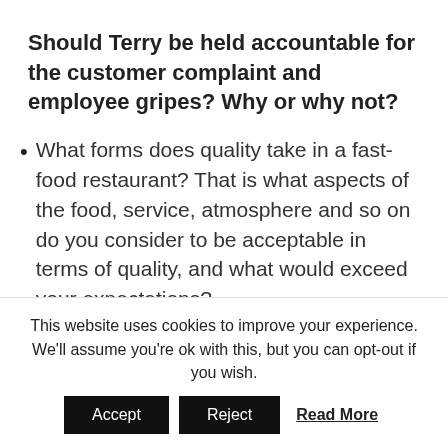Should Terry be held accountable for the customer complaint and employee gripes? Why or why not?
What forms does quality take in a fast-food restaurant? That is what aspects of the food, service, atmosphere and so on do you consider to be acceptable in terms of quality, and what would exceed your expectations?
In the company where you work, do you belong to a group or a committee? If yes, did you choose to join the group
This website uses cookies to improve your experience. We'll assume you're ok with this, but you can opt-out if you wish.